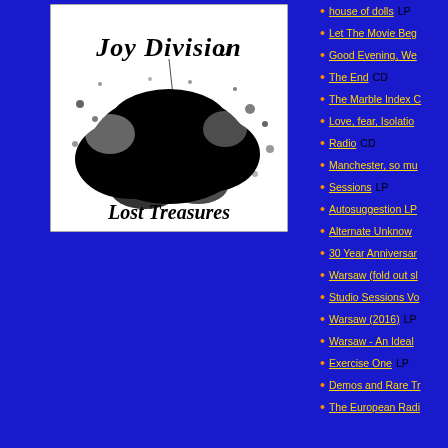[Figure (illustration): Black and white album cover artwork for Joy Division 'Lost Treasures' featuring gothic text and abstract black ink/cloud imagery on white background]
house of dolls LP
Let The Movie Beg...
Good Evening, We...
The End CD
The Marble Index C...
Love, fear, Isolatio...
Radio CD
Manchester, so mu...
Sessions LP
Autosuggestion LP...
Alternate Unknow...
30 Year Anniversar...
Warsaw (fold out sl...
Studio Sessions Vo...
Warsaw (2016) LP
Warsaw - An Ideal ...
Exercise One LP
Demos and Rare Tr...
The European Radi...